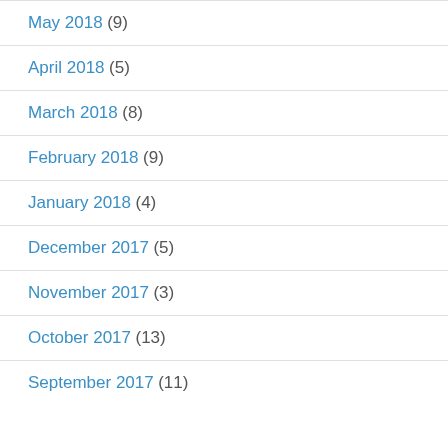May 2018 (9)
April 2018 (5)
March 2018 (8)
February 2018 (9)
January 2018 (4)
December 2017 (5)
November 2017 (3)
October 2017 (13)
September 2017 (11)